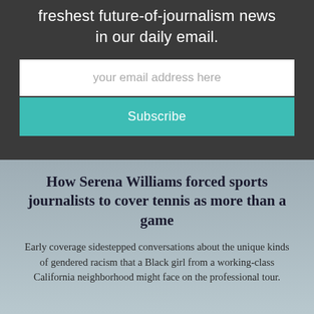freshest future-of-journalism news in our daily email.
[Figure (other): Email subscription input field with placeholder text 'your email address here']
[Figure (other): Teal Subscribe button]
How Serena Williams forced sports journalists to cover tennis as more than a game
Early coverage sidestepped conversations about the unique kinds of gendered racism that a Black girl from a working-class California neighborhood might face on the professional tour.